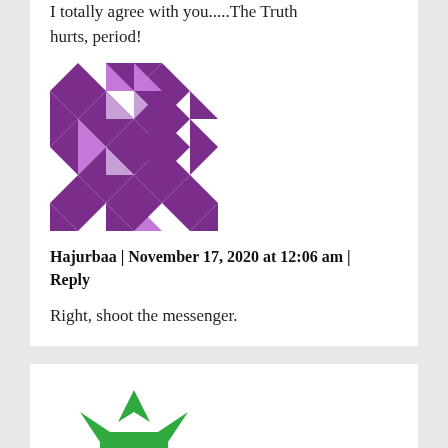I totally agree with you.....The Truth hurts, period!
[Figure (illustration): Purple geometric avatar for user Hajurbaa]
Hajurbaa | November 17, 2020 at 12:06 am | Reply
Right, shoot the messenger.
[Figure (illustration): Green geometric avatar for user Victor Zeno]
Victor Zeno | November 16, 2020 at 8:45 am | Reply